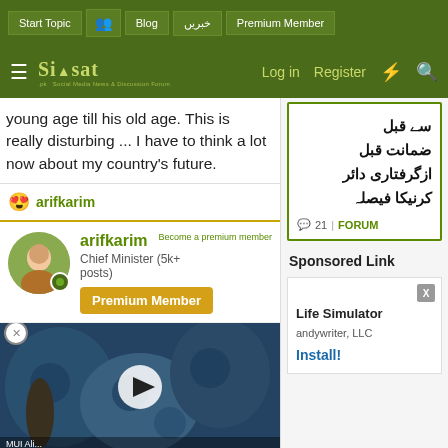Start Topic | Blog | خبریں | Premium Member | Log in | Register
[Figure (screenshot): Siasat.pk logo with navigation bar showing Log in, Register, lightning and search icons]
young age till his old age. This is really disturbing ... I have to think a lot now about my country's future.
arifkarim
arifkarim
Chief Minister (5k+ posts)
Premium Member
[Figure (photo): Video thumbnail showing people with blue patterned fabric with a play button overlay]
سے قبل ضمانت قبل ازگرفتاری دائر کرنیکا فیصلہ
21 | FORUM
Sponsored Link
Life Simulator
andywriter, LLC
Install!